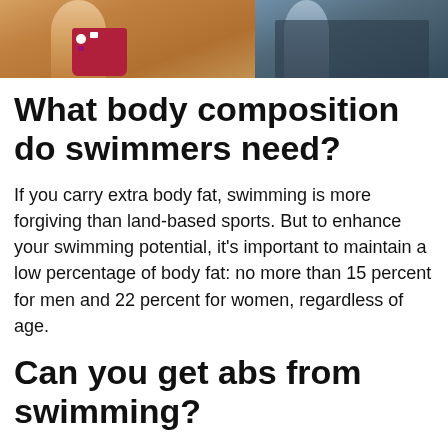[Figure (photo): Two swimmers at what appears to be a competitive swimming event; left swimmer wearing a red/blue patterned swimsuit, right swimmer in a dark swimsuit]
What body composition do swimmers need?
If you carry extra body fat, swimming is more forgiving than land-based sports. But to enhance your swimming potential, it's important to maintain a low percentage of body fat: no more than 15 percent for men and 22 percent for women, regardless of age.
Can you get abs from swimming?
More than anything, however, swimming consistently exercises the core muscles and